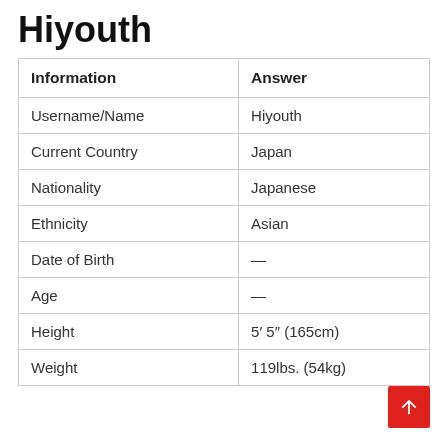Hiyouth
| Information | Answer |
| --- | --- |
| Username/Name | Hiyouth |
| Current Country | Japan |
| Nationality | Japanese |
| Ethnicity | Asian |
| Date of Birth | — |
| Age | — |
| Height | 5′ 5″ (165cm) |
| Weight | 119lbs. (54kg) |